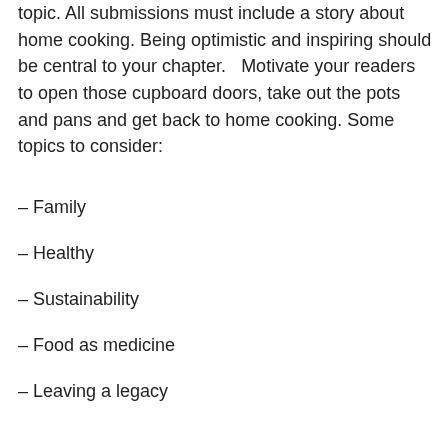topic.  All submissions must include a story about home cooking.  Being optimistic and inspiring should be central to your chapter.   Motivate your readers to open those cupboard doors, take out the pots and pans and get back to home cooking.  Some topics to consider:
– Family
– Healthy
– Sustainability
– Food as medicine
– Leaving a legacy
– Family or cultural tradition
– Mental health, cooking as therapy